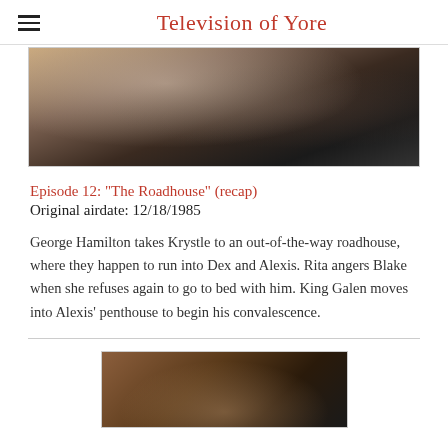Television of Yore
[Figure (photo): Close-up photo of a woman wearing a large pearl/crystal necklace in an evening gown, with a man in a tuxedo partially visible behind her.]
Episode 12: "The Roadhouse" (recap)
Original airdate: 12/18/1985
George Hamilton takes Krystle to an out-of-the-way roadhouse, where they happen to run into Dex and Alexis. Rita angers Blake when she refuses again to go to bed with him. King Galen moves into Alexis' penthouse to begin his convalescence.
[Figure (photo): Bottom photo partially visible showing a person from behind or side, at what appears to be an indoor setting with wooden elements.]